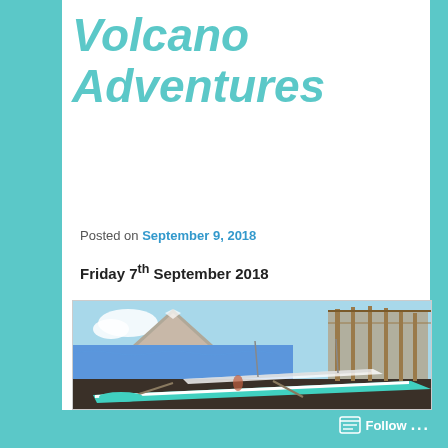Volcano Adventures
Posted on September 9, 2018
Friday 7th September 2018
[Figure (photo): Turquoise outrigger boats (bangka) on a black sand beach with a volcano in the background and a bamboo structure on the right side.]
Follow